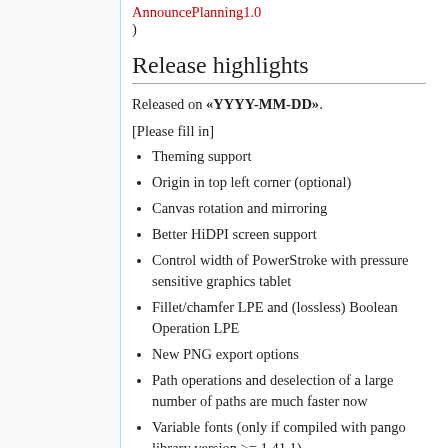AnnouncePlanning1.0)
Release highlights
Released on «YYYY-MM-DD».
[Please fill in]
Theming support
Origin in top left corner (optional)
Canvas rotation and mirroring
Better HiDPI screen support
Control width of PowerStroke with pressure sensitive graphics tablet
Fillet/chamfer LPE and (lossless) Boolean Operation LPE
New PNG export options
Path operations and deselection of a large number of paths are much faster now
Variable fonts (only if compiled with pango library version >= 1.41.1)